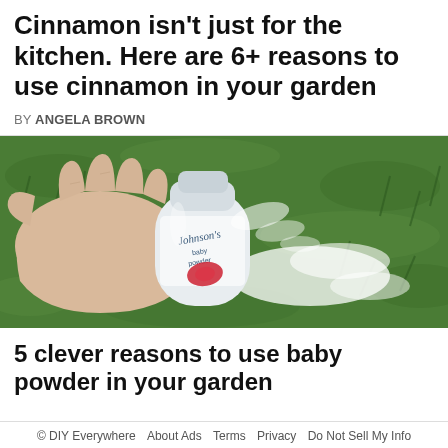Cinnamon isn't just for the kitchen. Here are 6+ reasons to use cinnamon in your garden
BY ANGELA BROWN
[Figure (photo): A hand holding a Johnson's baby powder bottle, sprinkling white powder onto green grass outdoors.]
5 clever reasons to use baby powder in your garden
© DIY Everywhere  About Ads  Terms  Privacy  Do Not Sell My Info